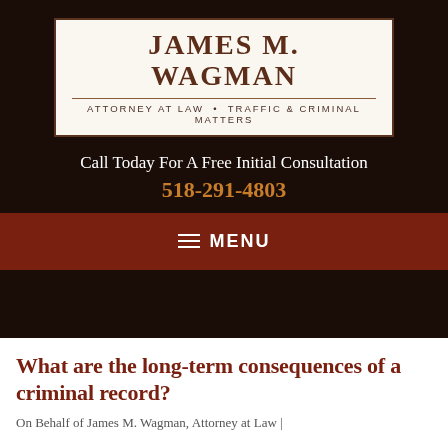[Figure (logo): James M. Wagman Attorney at Law logo with name in serif font and subtitle 'Attorney at Law · Traffic & Criminal Matters']
Call Today For A Free Initial Consultation
518-291-4803
≡ MENU
What are the long-term consequences of a criminal record?
On Behalf of James M. Wagman, Attorney at Law |